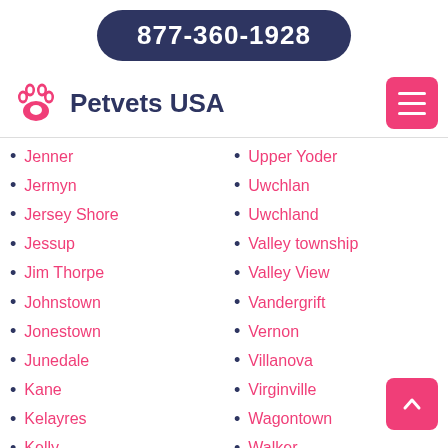877-360-1928
[Figure (logo): Petvets USA logo with pink paw print icon and dark blue text 'Petvets USA']
Jenner
Jermyn
Jersey Shore
Jessup
Jim Thorpe
Johnstown
Jonestown
Junedale
Kane
Kelayres
Kelly
Kelton
Upper Yoder
Uwchlan
Uwchland
Valley township
Valley View
Vandergrift
Vernon
Villanova
Virginville
Wagontown
Walker
Wallace